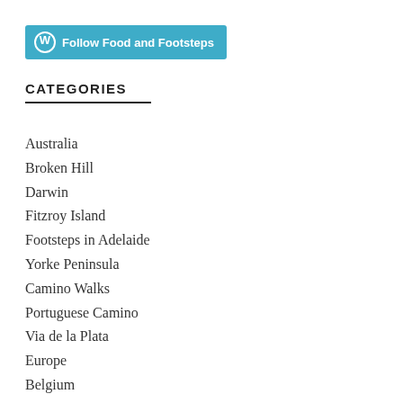[Figure (other): WordPress Follow button: blue rounded rectangle with W circle icon and text 'Follow Food and Footsteps']
CATEGORIES
Australia
Broken Hill
Darwin
Fitzroy Island
Footsteps in Adelaide
Yorke Peninsula
Camino Walks
Portuguese Camino
Via de la Plata
Europe
Belgium
Italy
Netherlands
Portugal